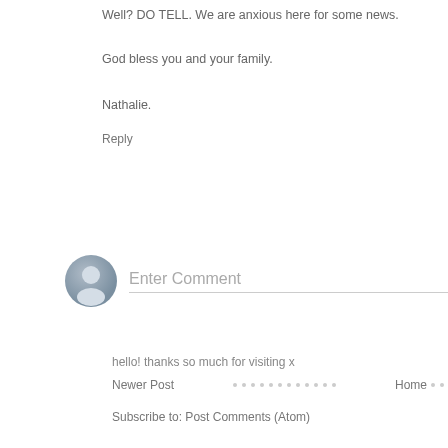Well? DO TELL. We are anxious here for some news.
God bless you and your family.
Nathalie.
Reply
[Figure (illustration): User avatar icon — a grey circle with a silhouette of a person]
Enter Comment
hello! thanks so much for visiting x
Newer Post
Home
Subscribe to: Post Comments (Atom)